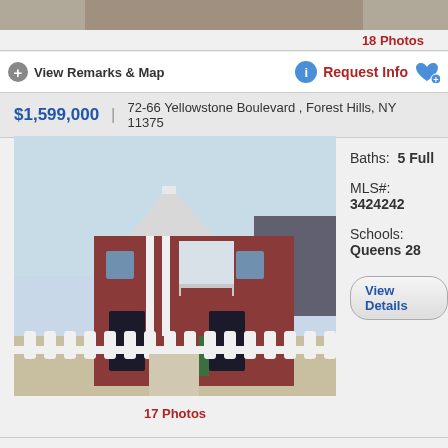18 Photos
View Remarks & Map
Request Info
$1,599,000 | 72-66 Yellowstone Boulevard , Forest Hills, NY 11375
[Figure (photo): Two-story brick house with white picket fence and white columns at entrance]
Baths: 5 Full
MLS#: 3424242
Schools: Queens 28
View Details
17 Photos